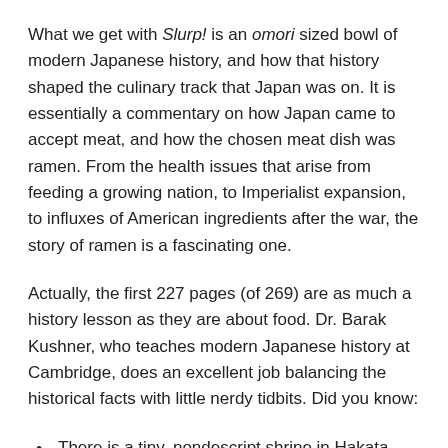What we get with Slurp! is an omori sized bowl of modern Japanese history, and how that history shaped the culinary track that Japan was on. It is essentially a commentary on how Japan came to accept meat, and how the chosen meat dish was ramen. From the health issues that arise from feeding a growing nation, to Imperialist expansion, to influxes of American ingredients after the war, the story of ramen is a fascinating one.
Actually, the first 227 pages (of 269) are as much a history lesson as they are about food. Dr. Barak Kushner, who teaches modern Japanese history at Cambridge, does an excellent job balancing the historical facts with little nerdy tidbits. Did you know:
There is a tiny, nondescript shrine in Hakata that is the birthplace of noodles in Japan?
Wheat is believed to come from the body of a being with god-like powers named Udatsu? I'll let you read it